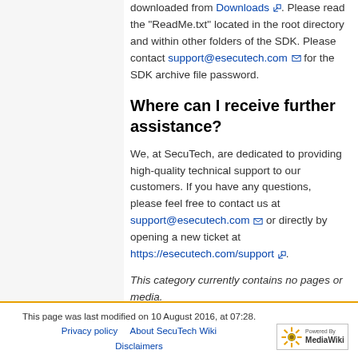downloaded from Downloads. Please read the "ReadMe.txt" located in the root directory and within other folders of the SDK. Please contact support@esecutech.com for the SDK archive file password.
Where can I receive further assistance?
We, at SecuTech, are dedicated to providing high-quality technical support to our customers. If you have any questions, please feel free to contact us at support@esecutech.com or directly by opening a new ticket at https://esecutech.com/support.
This category currently contains no pages or media.
| Category:  Software Protection |
This page was last modified on 10 August 2016, at 07:28.
Privacy policy    About SecuTech Wiki    Disclaimers